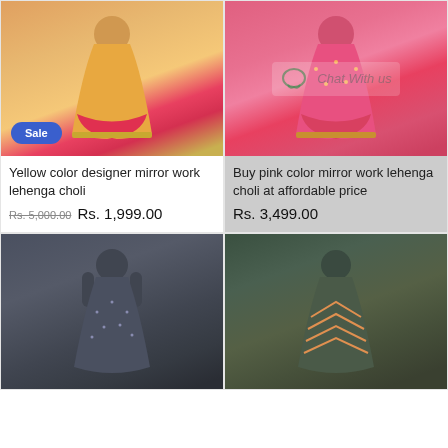[Figure (photo): Yellow/orange lehenga choli with red border and gold trim displayed on mannequin, with Sale badge]
[Figure (photo): Pink/red mirror work lehenga choli with gold embroidery displayed on mannequin, with Chat With us watermark]
Yellow color designer mirror work lehenga choli
Rs. 5,000.00  Rs. 1,999.00
Buy pink color mirror work lehenga choli at affordable price
Rs. 3,499.00
[Figure (photo): Dark grey/black sequin lehenga choli displayed on mannequin]
[Figure (photo): Dark green and multicolor chevron/zigzag pattern lehenga choli displayed on mannequin]